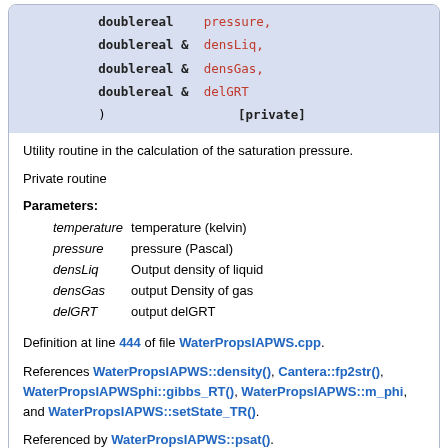doublereal  pressure,
doublereal &  densLiq,
doublereal &  densGas,
doublereal &  delGRT
)   [private]
Utility routine in the calculation of the saturation pressure.
Private routine
Parameters:
| parameter | description |
| --- | --- |
| temperature | temperature (kelvin) |
| pressure | pressure (Pascal) |
| densLiq | Output density of liquid |
| densGas | output Density of gas |
| delGRT | output delGRT |
Definition at line 444 of file WaterPropsIAPWS.cpp.
References WaterPropsIAPWS::density(), Cantera::fp2str(), WaterPropsIAPWSphi::gibbs_RT(), WaterPropsIAPWS::m_phi, and WaterPropsIAPWS::setState_TR().
Referenced by WaterPropsIAPWS::psat().
void corr1 ( doublereal  temperature,
             doublereal  pressure,
             doublereal &  densLiq,